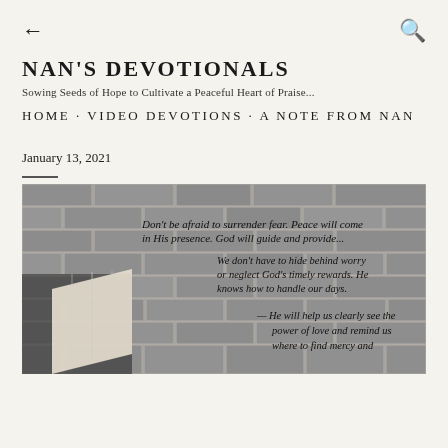← (back) 🔍 (search)
NAN'S DEVOTIONALS
Sowing Seeds of Hope to Cultivate a Peaceful Heart of Praise...
HOME · VIDEO DEVOTIONS · A NOTE FROM NAN
January 13, 2021
[Figure (photo): Photo of a person holding an open book in front of a brick wall, with devotional text overlaid: 'Don't be afraid to surrender fear. Peace will come in His presence. God will guide and provide... We don't have to hide behind worry or neglect God's timely rewards. He knows how to handle our days. — He will help us clearly see the power of love and remind us where to find mercy and']